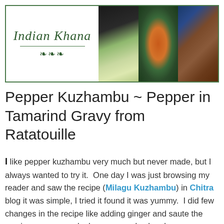[Figure (illustration): Indian Khana blog header banner with logo on left and three food photos on right showing drinks, curry with puri, and sweets]
Pepper Kuzhambu ~ Pepper in Tamarind Gravy from Ratatouille
I like pepper kuzhambu very much but never made, but I always wanted to try it. One day I was just browsing my reader and saw the recipe (Milagu Kuzhambu) in Chitra blog it was simple, I tried it found it was yummy. I did few changes in the recipe like adding ginger and saute the cumin pepper masala, here pepper kuzhambu my way. Thanks Chitra for sharing the recipe :)